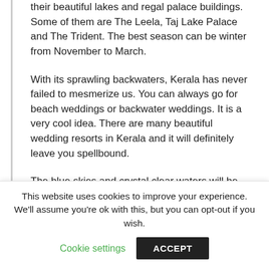their beautiful lakes and regal palace buildings. Some of them are The Leela, Taj Lake Palace and The Trident. The best season can be winter from November to March.
With its sprawling backwaters, Kerala has never failed to mesmerize us. You can always go for beach weddings or backwater weddings. It is a very cool idea. There are many beautiful wedding resorts in Kerala and it will definitely leave you spellbound.
The blue skies and crystal clear waters will be the
This website uses cookies to improve your experience. We'll assume you're ok with this, but you can opt-out if you wish.